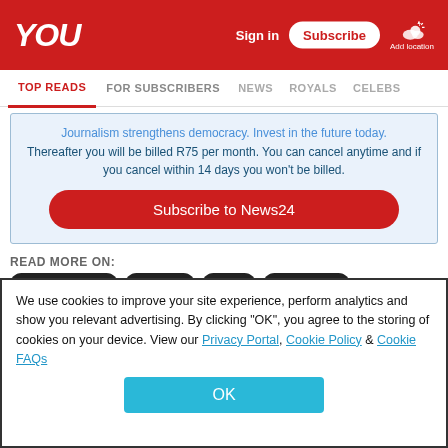YOU
Sign in   Subscribe   Add location
TOP READS   FOR SUBSCRIBERS   NEWS   ROYALS   CELEBS
Journalism strengthens democracy. Invest in the future today. Thereafter you will be billed R75 per month. You can cancel anytime and if you cancel within 14 days you won't be billed.
Subscribe to News24
READ MORE ON:
PRINCE HARRY
ROYALS
FAKE
FACEBOOK
We use cookies to improve your site experience, perform analytics and show you relevant advertising. By clicking "OK", you agree to the storing of cookies on your device. View our Privacy Portal, Cookie Policy & Cookie FAQs
OK